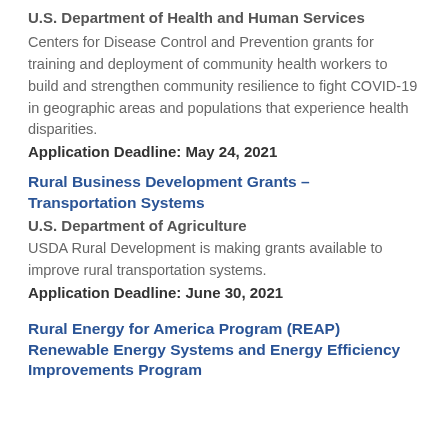U.S. Department of Health and Human Services
Centers for Disease Control and Prevention grants for training and deployment of community health workers to build and strengthen community resilience to fight COVID-19 in geographic areas and populations that experience health disparities.
Application Deadline: May 24, 2021
Rural Business Development Grants – Transportation Systems
U.S. Department of Agriculture
USDA Rural Development is making grants available to improve rural transportation systems.
Application Deadline: June 30, 2021
Rural Energy for America Program (REAP) Renewable Energy Systems and Energy Efficiency Improvements Program